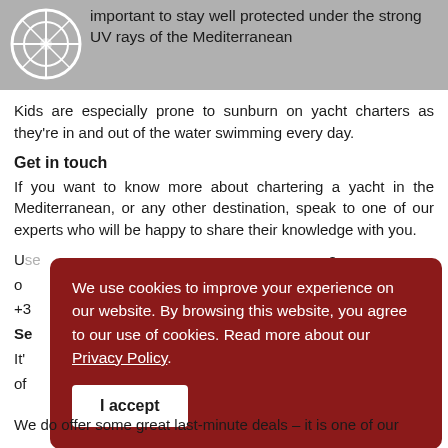important to stay well protected under the strong UV rays of the Mediterranean
Kids are especially prone to sunburn on yacht charters as they're in and out of the water swimming every day.
Get in touch
If you want to know more about chartering a yacht in the Mediterranean, or any other destination, speak to one of our experts who will be happy to share their knowledge with you.
We use cookies to improve your experience on our website. By browsing this website, you agree to our use of cookies. Read more about our Privacy Policy.
We do offer some great last-minute deals – it is one of our